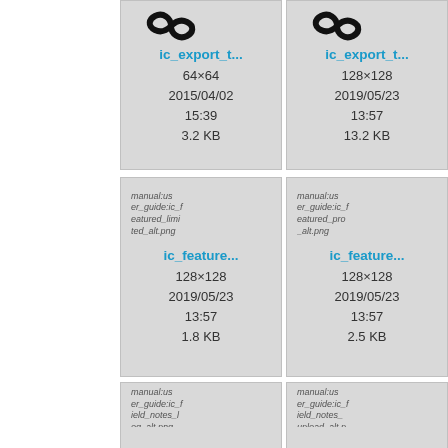[Figure (screenshot): File browser grid showing icon entries for ic_export_t... (64x64, 2015/04/02 15:39, 3.2 KB), ic_export_t... (128x128, 2019/05/23 13:57, 13.2 KB), partial third column entry, ic_feature... (128x128, 2019/05/23 13:57, 1.8 KB), ic_feature... (128x128, 2019/05/23 13:57, 2.5 KB), partial third column entry, ic_field_notes_log_alt.png entry, ic_field_notes_upload_alt.png entry, and partial third entry]